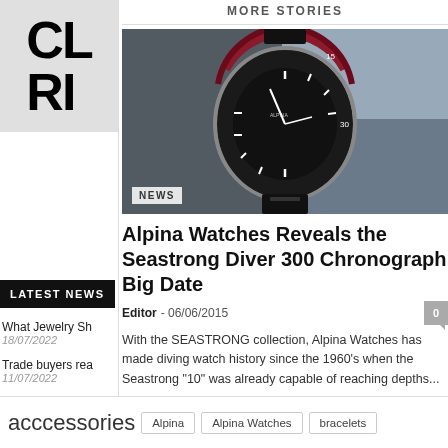[Figure (photo): Partial banner image on left sidebar showing large bold letters C L and R I on a light gray background]
LATEST NEWS
What Jewelry Sh
18/07/2022
Trade buyers rea
11/07/2022
Frederique Cons
01/06/2022
TAGS
MORE STORIES
[Figure (photo): Close-up photo of an Alpina Seastrong Diver 300 Chronograph watch with dark dial, red/burgundy bezel, and black strap on a blurred background]
Alpina Watches Reveals the Seastrong Diver 300 Chronograph Big Date
Editor - 06/06/2015
With the SEASTRONG collection, Alpina Watches has made diving watch history since the 1960's when the Seastrong “10” was already capable of reaching depths...
accessories
Alpina
Alpina Watches
bracelets